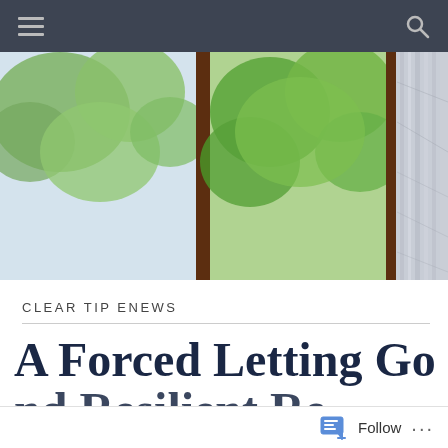Navigation bar with hamburger menu and search icon
[Figure (photo): Open window with wooden frame looking out onto green leafy trees, with a white/grey curtain or blind on the right side]
CLEAR TIP ENEWS
A Forced Letting Go and Resilient Re...
Follow ...